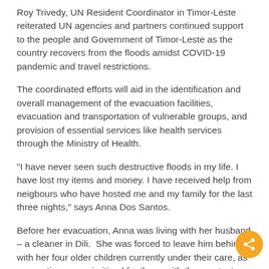Roy Trivedy, UN Resident Coordinator in Timor-Leste reiterated UN agencies and partners continued support to the people and Government of Timor-Leste as the country recovers from the floods amidst COVID-19 pandemic and travel restrictions.
The coordinated efforts will aid in the identification and overall management of the evacuation facilities, evacuation and transportation of vulnerable groups, and provision of essential services like health services through the Ministry of Health.
"I have never seen such destructive floods in my life. I have lost my items and money. I have received help from neigbours who have hosted me and my family for the last three nights," says Anna Dos Santos.
Before her evacuation, Anna was living with her husband – a cleaner in Dili.  She was forced to leave him behind with her four older children currently under their care, as evacuation was prioritized for those with the greatest need.